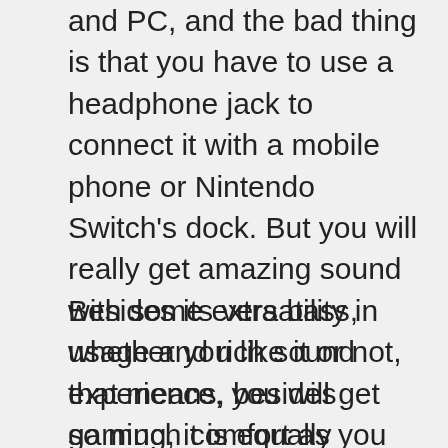and PC, and the bad thing is that you have to use a headphone jack to connect it with a mobile phone or Nintendo Switch's dock. But you will really get amazing sound with some extra bass, whether you like it or not, that means, besides gaming, it is equally perfect to listen to music or watch music.
Besides its versatility in usage and rich sound experience, you will get so much comfort as you can wear it for many hours without any problem. However, the headset is much expensive as compared to other gaming headsets, and that's why you may